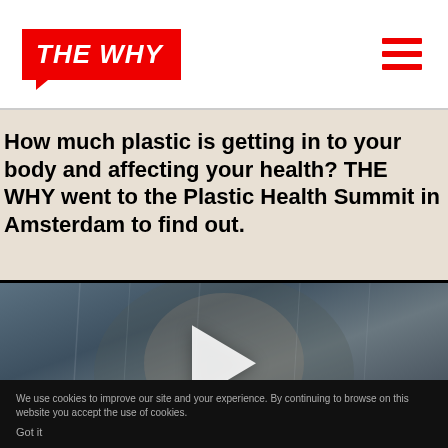THE WHY
How much plastic is getting in to your body and affecting your health? THE WHY went to the Plastic Health Summit in Amsterdam to find out.
[Figure (photo): Video thumbnail showing a child's face pressed against glass or a wet surface, with a white play button triangle in the center. Two red-bordered tags at bottom left read 'WHY WOMEN' and 'Short film'.]
We use cookies to improve our site and your experience. By continuing to browse on this website you accept the use of cookies.
Got it